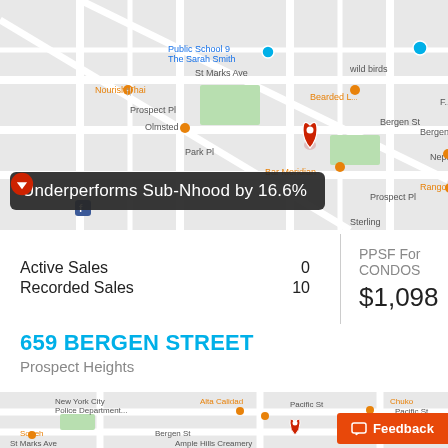[Figure (map): Google Maps street map showing area around a property in Brooklyn/Prospect Heights. Red location pin in center, orange restaurant/business pins, street labels including St Marks Ave, Bergen St, Prospect Pl, Park Pl, Sterling. Shows businesses: Nourish Thai, Olmsted, Bearded L_, Bar Meridian, Neptune Diner II, Rangoon, Public School 9 The Sarah Smith, wild birds. Tooltip overlay reads: Underperforms Sub-Nhood by 16.6%]
|  | Value | PPSF Metric |
| --- | --- | --- |
| Active Sales | 0 | PPSF For CONDOS |
| Recorded Sales | 10 | $1,098 |
659 BERGEN STREET
Prospect Heights
[Figure (map): Google Maps street map showing area around 659 Bergen Street in Prospect Heights, Brooklyn. Red location pin on Bergen St. Orange pins for nearby businesses. Shows: New York City Police Department, Sofreh, Alta Calidad, Chuko, Island Eating and Drinking House, Ample Hills Creamery Prospect Heights. Street labels: Pacific St, Atlantic Ave, Bergen St, St Marks Ave. Feedback button overlay in bottom right.]